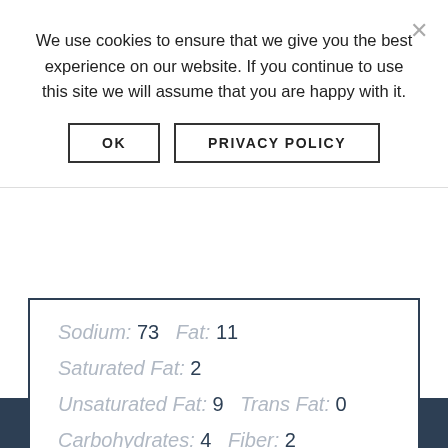We use cookies to ensure that we give you the best experience on our website. If you continue to use this site we will assume that you are happy with it.
OK  PRIVACY POLICY
Sodium: 73  Fat: 11
Saturated Fat: 2
Unsaturated Fat: 9  Trans Fat: 0
Carbohydrates: 4  Fiber: 2
Protein: 4  Cholesterol: 0
Keywords: sunflower seed, nut free, peanut free, vegan, vegetarian, snack